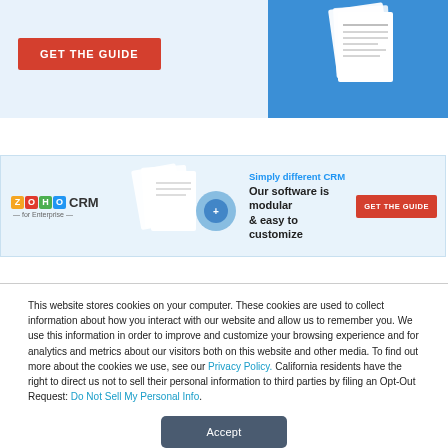[Figure (screenshot): Top banner ad with red GET THE GUIDE button and blue background with document images on right side]
[Figure (screenshot): Zoho CRM for Enterprise ad banner: logo, document images, text 'Simply different CRM - Our software is modular & easy to customize', red GET THE GUIDE button]
This website stores cookies on your computer. These cookies are used to collect information about how you interact with our website and allow us to remember you. We use this information in order to improve and customize your browsing experience and for analytics and metrics about our visitors both on this website and other media. To find out more about the cookies we use, see our Privacy Policy. California residents have the right to direct us not to sell their personal information to third parties by filing an Opt-Out Request: Do Not Sell My Personal Info.